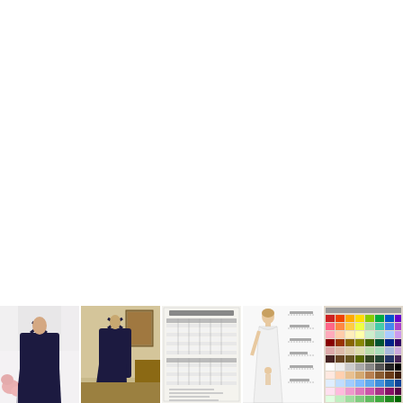[Figure (photo): Row of five product thumbnail images at the bottom of the page. From left to right: 1) A dark navy/purple short dress with crossed spaghetti straps on the back, shown on a model with red flowers nearby. 2) A dark navy/purple short cocktail dress with crossed back straps, shown on a mannequin in a room setting. 3) A size chart or measurement guide document with tables. 4) A full-length white/light gown with a figure diagram showing measurements. 5) A fabric color swatch chart showing a grid of colored squares.]